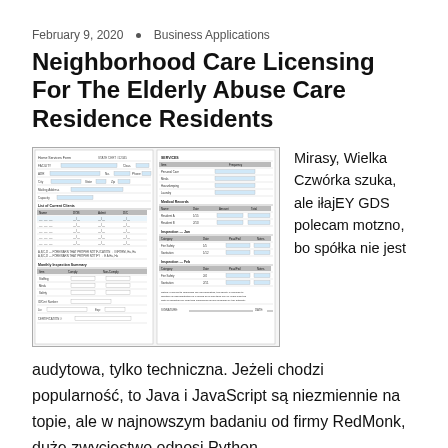February 9, 2020 • Business Applications
Neighborhood Care Licensing For The Elderly Abuse Care Residence Residents
[Figure (photo): Scanned image of a two-page care facility licensing form with multiple fields including name, address, resident information, and tables with checkboxes and data entries.]
Mirasy, Wielka Czwórka szuka, ale iłajEY GDS polecam motzno, bo spółka nie jest audytowa, tylko techniczna. Jeżeli chodzi popularność, to Java i JavaScript są niezmiennie na topie, ale w najnowszym badaniu od firmy RedMonk, duże zwyciestwo odnosi Python